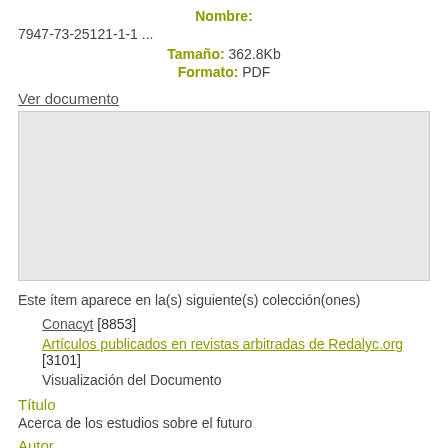Nombre:
7947-73-25121-1-1 ...
Tamaño: 362.8Kb
Formato: PDF
Ver documento
Este ítem aparece en la(s) siguiente(s) colección(ones)
Conacyt [8853]
Artículos publicados en revistas arbitradas de Redalyc.org [3101]
Visualización del Documento
Título
Acerca de los estudios sobre el futuro
Autor
Morales Sales, Edgar Samuel
Fecha de publicación
2000